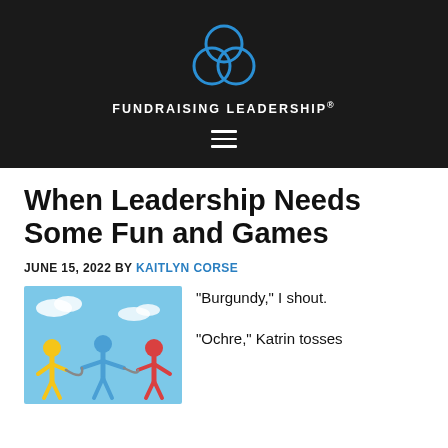FUNDRAISING LEADERSHIP®
When Leadership Needs Some Fun and Games
JUNE 15, 2022 BY KAITLYN CORSE
[Figure (illustration): Three colorful cartoon figures (yellow, blue, red) on a light blue sky background, appearing to play tug-of-war or a similar game]
“Burgundy,” I shout.
“Ochre,” Katrin tosses